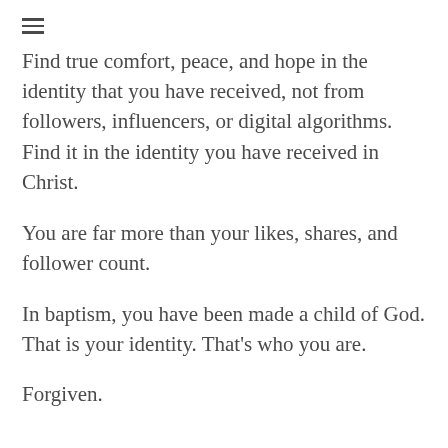[Figure (other): Hamburger menu icon (three horizontal lines)]
Find true comfort, peace, and hope in the identity that you have received, not from followers, influencers, or digital algorithms. Find it in the identity you have received in Christ.
You are far more than your likes, shares, and follower count.
In baptism, you have been made a child of God. That is your identity. That's who you are.
Forgiven.